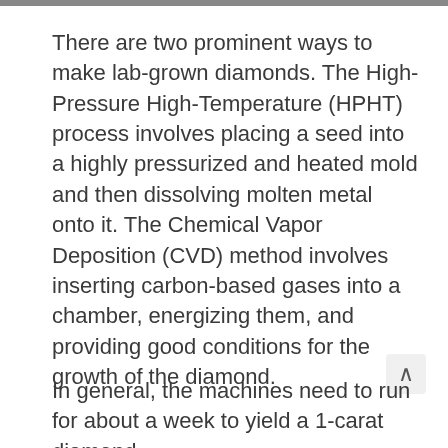There are two prominent ways to make lab-grown diamonds. The High-Pressure High-Temperature (HPHT) process involves placing a seed into a highly pressurized and heated mold and then dissolving molten metal onto it. The Chemical Vapor Deposition (CVD) method involves inserting carbon-based gases into a chamber, energizing them, and providing good conditions for the growth of the diamond.
In general, the machines need to run for about a week to yield a 1-carat diamond